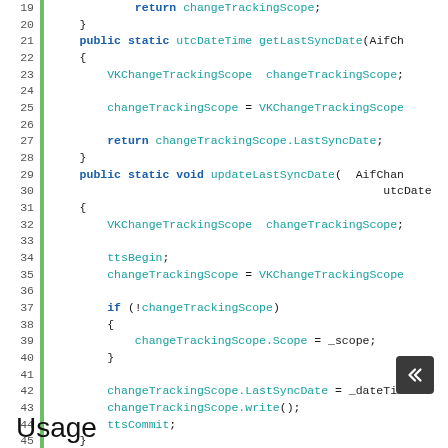[Figure (screenshot): Code listing showing X++ / AX code lines 19-45 with line numbers and a green gutter bar. Keywords 'public static', 'return', 'if' highlighted in bold blue; type names and identifiers in cyan.]
Usage